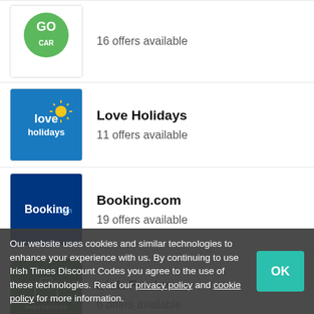GoCar — 16 offers available
Love Holidays — 11 offers available
Booking.com — 19 offers available
Irish Ferries — 6 offers available
Budget
Our website uses cookies and similar technologies to enhance your experience with us. By continuing to use Irish Times Discount Codes you agree to the use of these technologies. Read our privacy policy and cookie policy for more information.